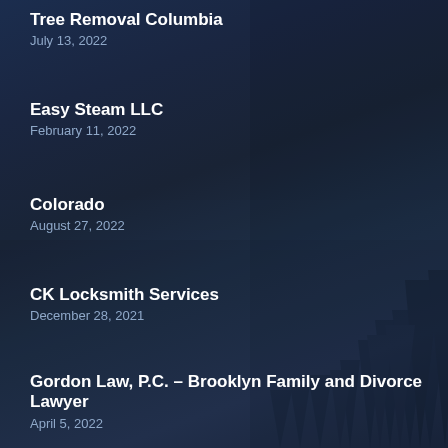Tree Removal Columbia
July 13, 2022
Easy Steam LLC
February 11, 2022
Colorado
August 27, 2022
CK Locksmith Services
December 28, 2021
Gordon Law, P.C. – Brooklyn Family and Divorce Lawyer
April 5, 2022